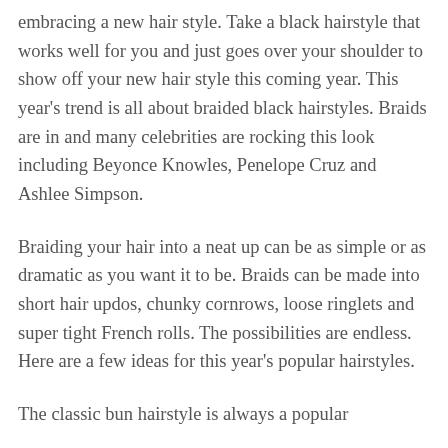embracing a new hair style. Take a black hairstyle that works well for you and just goes over your shoulder to show off your new hair style this coming year. This year's trend is all about braided black hairstyles. Braids are in and many celebrities are rocking this look including Beyonce Knowles, Penelope Cruz and Ashlee Simpson.
Braiding your hair into a neat up can be as simple or as dramatic as you want it to be. Braids can be made into short hair updos, chunky cornrows, loose ringlets and super tight French rolls. The possibilities are endless. Here are a few ideas for this year's popular hairstyles.
The classic bun hairstyle is always a popular